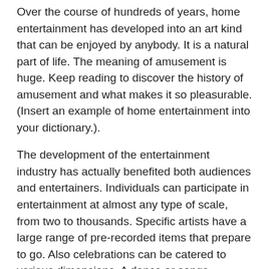Over the course of hundreds of years, home entertainment has developed into an art kind that can be enjoyed by anybody. It is a natural part of life. The meaning of amusement is huge. Keep reading to discover the history of amusement and what makes it so pleasurable. (Insert an example of home entertainment into your dictionary.).
The development of the entertainment industry has actually benefited both audiences and entertainers. Individuals can participate in entertainment at almost any type of scale, from two to thousands. Specific artists have a large range of pre-recorded items that prepare to go. Also celebrations can be catered to various dimensions. A dance or songs efficiency for 2 individuals is appropriate for a little gathering. For bigger occasions, there are lots of alternatives to pick from. Those who are searching for something much more initial can discover a lot of choices for the entertainment of their friends.